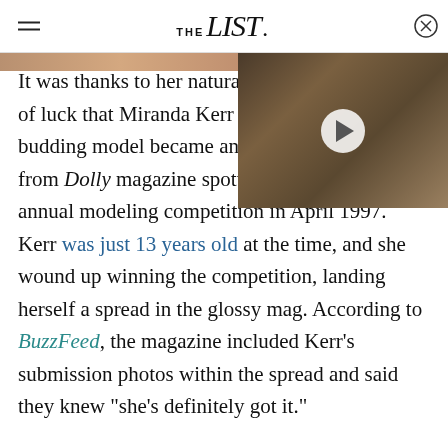THE list
[Figure (photo): Video thumbnail showing a young woman with long brown hair smiling, with a play button overlay]
It was thanks to her natural talent and a bit of luck that Miranda Kerr was discovered. The budding model became an international sensation after a scout from Dolly magazine spotted her during their annual modeling competition in April 1997. Kerr was just 13 years old at the time, and she wound up winning the competition, landing herself a spread in the glossy mag. According to BuzzFeed, the magazine included Kerr's submission photos within the spread and said they knew "she's definitely got it."